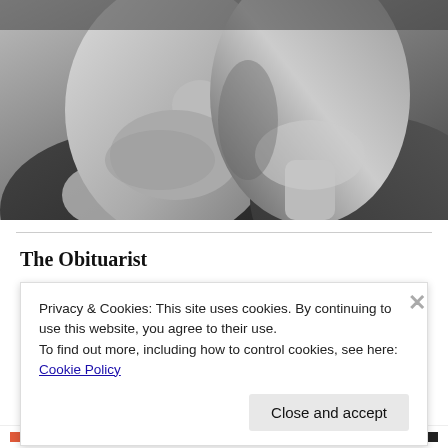[Figure (photo): Black and white close-up photograph of two men facing each other, both with stubble/beards, wearing jackets. Their faces are close together as if in conversation or confrontation.]
The Obituarist
Privacy & Cookies: This site uses cookies. By continuing to use this website, you agree to their use.
To find out more, including how to control cookies, see here: Cookie Policy